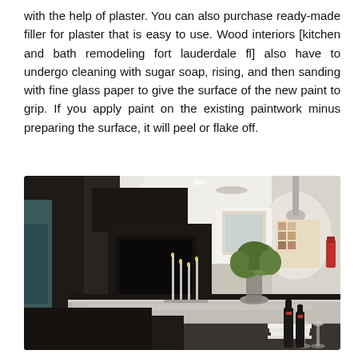with the help of plaster. You can also purchase ready-made filler for plaster that is easy to use. Wood interiors [kitchen and bath remodeling fort lauderdale fl] also have to undergo cleaning with sugar soap, rising, and then sanding with fine glass paper to give the surface of the new paint to grip. If you apply paint on the existing paintwork minus preparing the surface, it will peel or flake off.
[Figure (photo): Modern kitchen interior with dark cabinetry, a stainless steel island countertop with candle holders, a vase of green flowers, wine glasses, stacked white plates, and bottles. A large pendant lamp hangs from the ceiling in the background.]